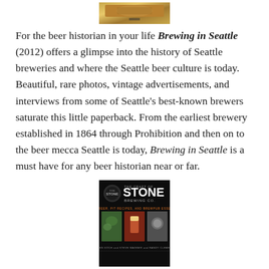[Figure (photo): Top portion of a book cover image, partially cropped, showing a golden/bronze toned image]
For the beer historian in your life Brewing in Seattle (2012) offers a glimpse into the history of Seattle breweries and where the Seattle beer culture is today.  Beautiful, rare photos, vintage advertisements, and interviews from some of Seattle’s best-known brewers saturate this little paperback. From the earliest brewery established in 1864 through Prohibition and then on to the beer mecca Seattle is today, Brewing in Seattle is a must have for any beer historian near or far.
[Figure (photo): Book cover of 'The Craft of Stone Brewing Co.' with black background, circular logo, large text, subtitle in orange, and three food/drink photos at the bottom. Authors listed at the bottom.]